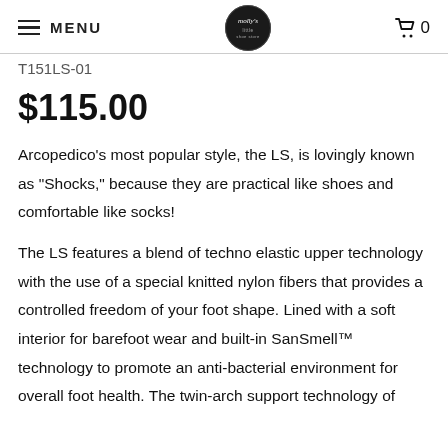MENU | molly's | 0
T151LS-01
$115.00
Arcopedico's most popular style, the LS, is lovingly known as "Shocks," because they are practical like shoes and comfortable like socks!
The LS features a blend of techno elastic upper technology with the use of a special knitted nylon fibers that provides a controlled freedom of your foot shape. Lined with a soft interior for barefoot wear and built-in SanSmell™ technology to promote an anti-bacterial environment for overall foot health. The twin-arch support technology of